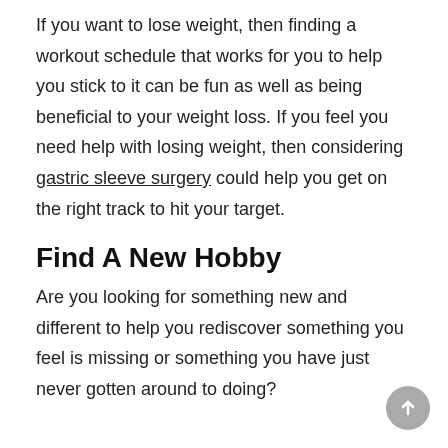If you want to lose weight, then finding a workout schedule that works for you to help you stick to it can be fun as well as being beneficial to your weight loss. If you feel you need help with losing weight, then considering gastric sleeve surgery could help you get on the right track to hit your target.
Find A New Hobby
Are you looking for something new and different to help you rediscover something you feel is missing or something you have just never gotten around to doing?